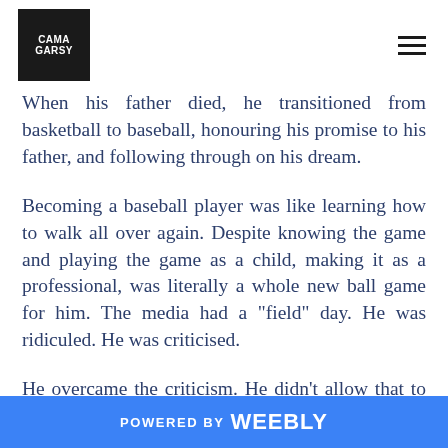CAMA GARSY [logo] [hamburger menu]
When his father died, he transitioned from basketball to baseball, honouring his promise to his father, and following through on his dream.

Becoming a baseball player was like learning how to walk all over again. Despite knowing the game and playing the game as a child, making it as a professional, was literally a whole new ball game for him. The media had a "field" day. He was ridiculed. He was criticised.

He overcame the criticism. He didn't allow that to stop him from pursuing his passion. He looked within to
POWERED BY weebly